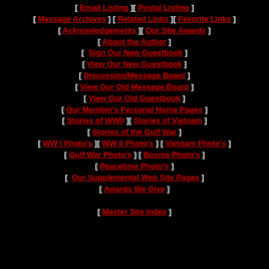[ Email Listing ][ Postal Listing ]
[ Message Archives ] [ Related Links ][ Favorite Links ]
[ Acknowledgements ][ Our Site Awards ]
[ About the Author ]
[ Sign Our New Guestbook ]
[ View Our New Guestbook ]
[ Discussion/Message Board ]
[ View Our Old Message Board ]
[ View Our Old Guestbook ]
[ Our Member's Personal Home Pages ]
[ Stories of WWII ][ Stories of Vietnam ]
[ Stories of the Gulf War ]
[ WW I Photo's ][ WW II Photo's ] [ Vietnam Photo's ]
[ Gulf War Photo's ] [ Bosnia Photo's ]
[ Peacetime Photo's ]
[ Our Supplemental Web Site Pages ]
[ Awards We Give ]
[ Master Site Index ]